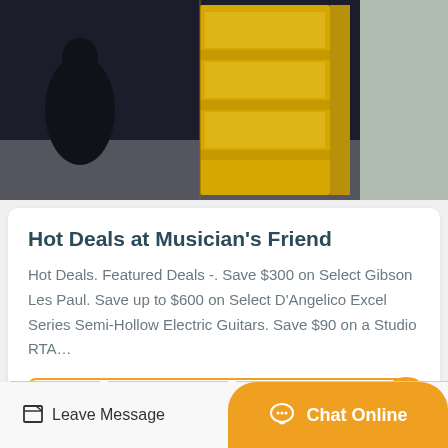[Figure (photo): Photo of a yellow shelving unit with open compartments, placed outdoors. A person in dark clothing is visible on the left side of the image.]
Hot Deals at Musician's Friend
Hot Deals. Featured Deals -. Save $300 on Select Gibson Les Paul. Save up to $600 on Select D'Angelico Excel Series Semi-Hollow Electric Guitars. Save $90 on a Studio RTA...
Get Price
Leave Message
Chat Online